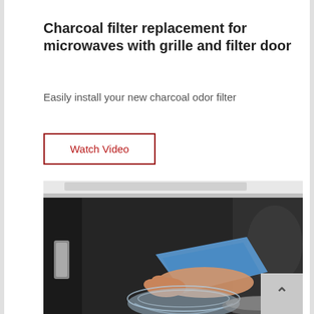Charcoal filter replacement for microwaves with grille and filter door
Easily install your new charcoal odor filter
Watch Video
[Figure (photo): A person wiping the inside of a microwave oven with a blue cloth. A glass bowl is visible in the foreground. The microwave is black with a stainless steel handle visible on the left door.]